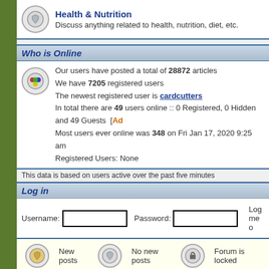Health & Nutrition
Discuss anything related to health, nutrition, diet, etc.
Who is Online
Our users have posted a total of 28872 articles
We have 7205 registered users
The newest registered user is cardcutters
In total there are 49 users online :: 0 Registered, 0 Hidden and 49 Guests  [ Ad
Most users ever online was 348 on Fri Jan 17, 2020 9:25 am
Registered Users: None
This data is based on users active over the past five minutes
Log in
Username:   Password:   Log me o
New posts   No new posts   Forum is locked
Powered by phpBB © 2001, 2002 phpBB G
Running Links Directory • Forum • Statistics & Calcu
Designed · Mainta